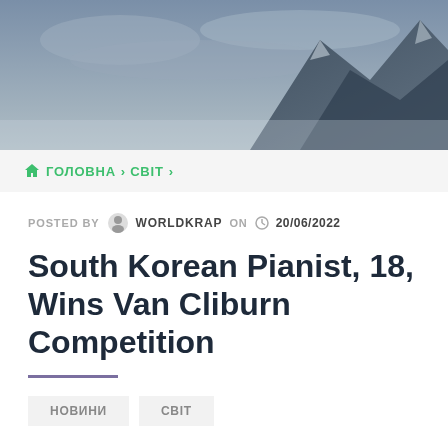[Figure (photo): Dark mountain landscape photo used as hero/banner image at the top of the page]
🏠 ГОЛОВНА > СВІТ >
POSTED BY WORLDKRAP ON 20/06/2022
South Korean Pianist, 18, Wins Van Cliburn Competition
НОВИНИ
СВІТ